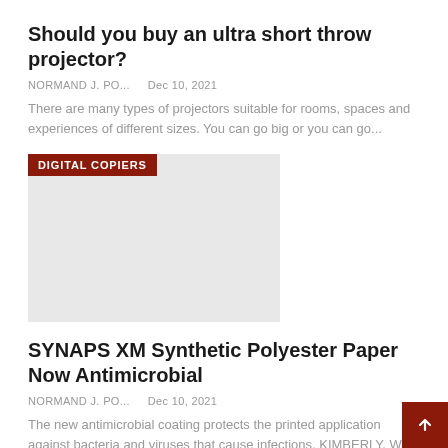Should you buy an ultra short throw projector?
NORMAND J. PO...    Dec 10, 2021
There are many types of projectors suitable for rooms, spaces and experiences of different sizes. You can go big or you can go...
[Figure (photo): Image placeholder with 'DIGITAL COPIERS' category tag overlay in dark red]
SYNAPS XM Synthetic Polyester Paper Now Antimicrobial
NORMAND J. PO...    Dec 10, 2021
The new antimicrobial coating protects the printed application against bacteria and viruses that cause infections. KIMBERLY, WI - Agfa Gevaert NV, the manufacturer of SYNAPS synthetic polyester paper, recent